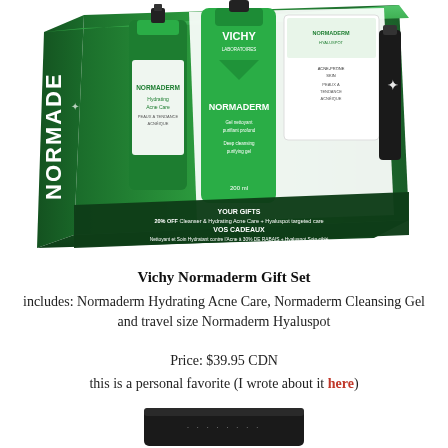[Figure (photo): Vichy Normaderm Gift Set product box shown from an angle. The green box contains Normaderm Hydrating Acne Care, Normaderm Deep Cleansing Purifying Gel, and Normaderm Hyaluspot. The box shows 'YOUR GIFTS / 20% OFF Cleanser & Hydrating Acne Care + Hyaluspot targeted care' and 'VOS CADEAUX / Nettoyant et Soin Hydratant contre l'Acne à 20% DE RABAIS + Hyaluspot Soin ciblé'.]
Vichy Normaderm Gift Set
includes: Normaderm Hydrating Acne Care, Normaderm Cleansing Gel and travel size Normaderm Hyaluspot
Price: $39.95 CDN
this is a personal favorite (I wrote about it here)
[Figure (photo): Bottom portion of another product (black packaging) partially visible at the bottom of the page.]